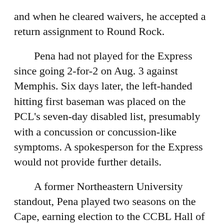and when he cleared waivers, he accepted a return assignment to Round Rock.
Pena had not played for the Express since going 2-for-2 on Aug. 3 against Memphis. Six days later, the left-handed hitting first baseman was placed on the PCL's seven-day disabled list, presumably with a concussion or concussion-like symptoms. A spokesperson for the Express would not provide further details.
A former Northeastern University standout, Pena played two seasons on the Cape, earning election to the CCBL Hall of Fame in 2003.
With a combined .196 batting average and .661 OPS in 267 major league games dating back to 2012, Pena's chances of getting another big league job appear slim. But he can still draw walks and hit an occasional home